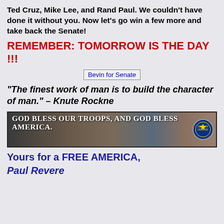Ted Cruz, Mike Lee, and Rand Paul. We couldn't have done it without you. Now let's go win a few more and take back the Senate!
REMEMBER: TOMORROW IS THE DAY !!!
[Figure (other): Bevin for Senate image/link placeholder]
“The finest work of man is to build the character of man.” – Knute Rockne
[Figure (illustration): God Bless Our Troops, and God Bless America banner with military vehicles, soldiers, ship, helicopter, and DoD seal]
Yours for a FREE AMERICA,
Paul Revere